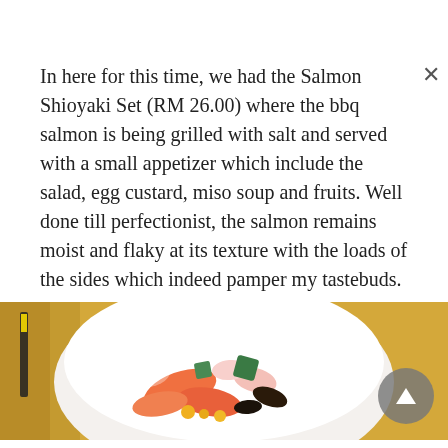In here for this time, we had the Salmon Shioyaki Set (RM 26.00) where the bbq salmon is being grilled with salt and served with a small appetizer which include the salad, egg custard, miso soup and fruits. Well done till perfectionist, the salmon remains moist and flaky at its texture with the loads of the sides which indeed pamper my tastebuds.
[Figure (photo): Photo of a white bowl filled with colorful Japanese food items including salmon, vegetables, and other side dishes, placed on a yellow surface with a dark pen visible in the background. A grey circular scroll-to-top button is overlaid on the bottom right.]